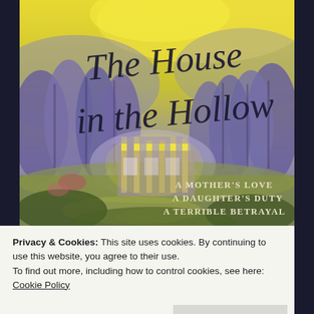[Figure (illustration): Book cover for 'The House in the Hollow' – a painterly illustration showing a ruined/glowing house amid dark purple forest trees under a yellow-green sky. Title in italic cursive script. Taglines: 'A Mother's Love / A Daughter's Duty / A Terrible Betrayal'.]
Privacy & Cookies: This site uses cookies. By continuing to use this website, you agree to their use.
To find out more, including how to control cookies, see here: Cookie Policy
Close and accept
[Figure (illustration): Bottom strip showing the bottom portion of the same book cover illustration.]